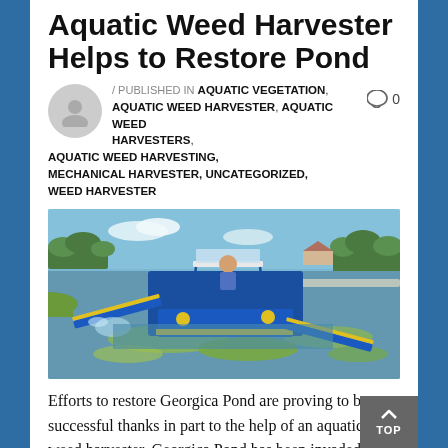Aquatic Weed Harvester Helps to Restore Pond
/ PUBLISHED IN AQUATIC VEGETATION, AQUATIC WEED HARVESTER, AQUATIC WEED HARVESTERS, AQUATIC WEED HARVESTING, MECHANICAL HARVESTER, UNCATEGORIZED, WEED HARVESTER
[Figure (photo): Aquatic weed harvester machine operating on a pond, collecting green aquatic vegetation from the water surface. Blue machinery with an operator seated on top.]
Efforts to restore Georgica Pond are proving to be successful thanks in part to the help of an aquatic weed harvester. Georgica Pond has been invaded by toxic